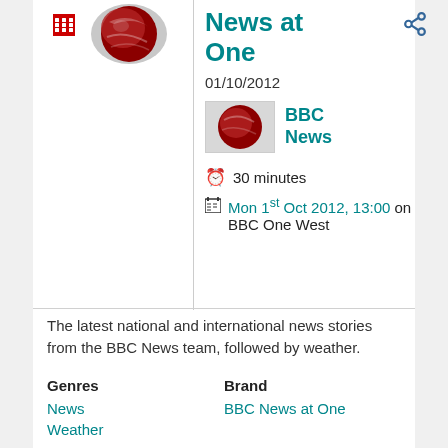[Figure (screenshot): BBC News at One programme logo showing globe]
News at One
01/10/2012
[Figure (logo): BBC News channel logo thumbnail]
BBC News
30 minutes
Mon 1st Oct 2012, 13:00 on BBC One West
The latest national and international news stories from the BBC News team, followed by weather.
Genres
Brand
News
Weather
BBC News at One